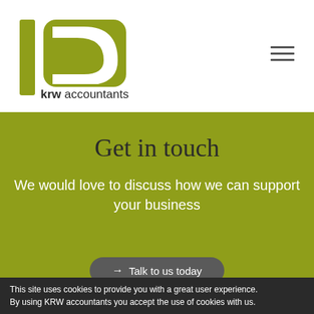[Figure (logo): KRW Accountants logo — olive-green stylized K/C shape with text 'krwaccountants' and subtitle 'Chartered Accountants & Tax Advisers']
Get in touch
We would love to discuss how we can support your business
→ Talk to us today
This site uses cookies to provide you with a great user experience. By using KRW accountants you accept the use of cookies with us.